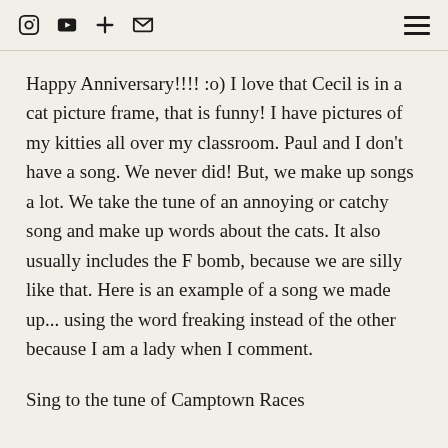[icons: Instagram, YouTube, Plus, Email, Hamburger menu]
Happy Anniversary!!!! :o) I love that Cecil is in a cat picture frame, that is funny! I have pictures of my kitties all over my classroom. Paul and I don't have a song. We never did! But, we make up songs a lot. We take the tune of an annoying or catchy song and make up words about the cats. It also usually includes the F bomb, because we are silly like that. Here is an example of a song we made up... using the word freaking instead of the other because I am a lady when I comment.
Sing to the tune of Camptown Races